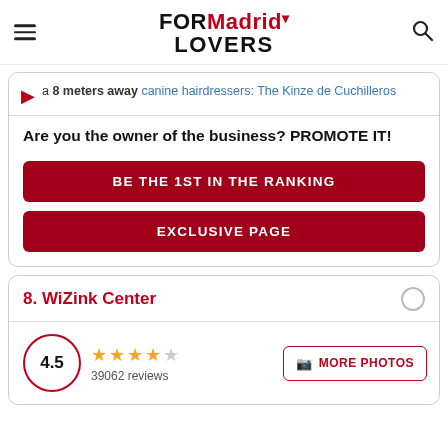FOR Madrid LOVERS
a 8 meters away canine hairdressers: The Kinze de Cuchilleros
Are you the owner of the business? PROMOTE IT!
BE THE 1ST IN THE RANKING
EXCLUSIVE PAGE
8. WiZink Center
4.5  39062 reviews  MORE PHOTOS